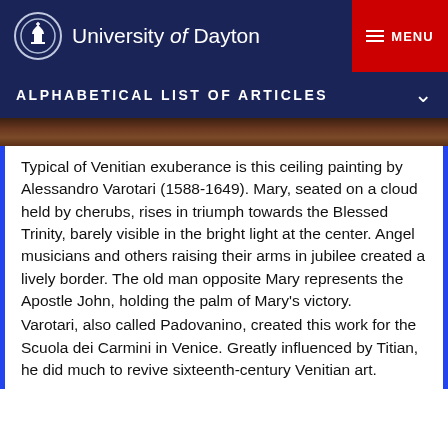University of Dayton  MENU
ALPHABETICAL LIST OF ARTICLES
[Figure (photo): Partial view of a ceiling painting, dark tones visible in a narrow horizontal strip.]
Typical of Venitian exuberance is this ceiling painting by Alessandro Varotari (1588-1649). Mary, seated on a cloud held by cherubs, rises in triumph towards the Blessed Trinity, barely visible in the bright light at the center. Angel musicians and others raising their arms in jubilee created a lively border. The old man opposite Mary represents the Apostle John, holding the palm of Mary's victory.
Varotari, also called Padovanino, created this work for the Scuola dei Carmini in Venice. Greatly influenced by Titian, he did much to revive sixteenth-century Venitian art.